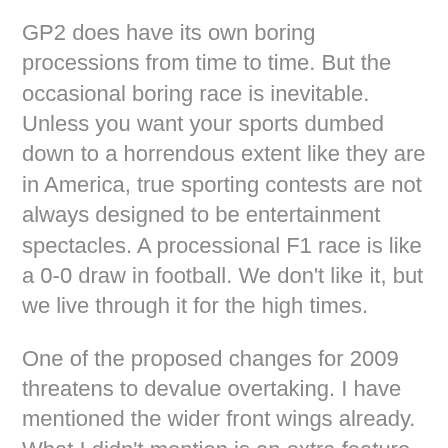GP2 does have its own boring processions from time to time. But the occasional boring race is inevitable. Unless you want your sports dumbed down to a horrendous extent like they are in America, true sporting contests are not always designed to be entertainment spectacles. A processional F1 race is like a 0-0 draw in football. We don't like it, but we live through it for the high times.
One of the proposed changes for 2009 threatens to devalue overtaking. I have mentioned the wider front wings already. What I didn't mention is an extra feature the front wings will have — an adjustable flap. The flaps are huge and drivers will be allowed to adjust them by six degrees as much as twice per lap.
This, to me, is just a terrible idea on so many levels. For one thing, it smacks of A1GP-style gimmickery. Formula